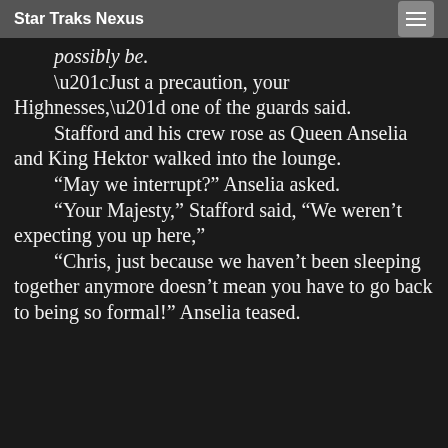Star Traks Nexus
possibly be.
“Just a precaution, your Highnesses,” one of the guards said.
Stafford and his crew rose as Queen Anselia and King Hektor walked into the lounge.
“May we interrupt?” Anselia asked.
“Your Majesty,” Stafford said, “We weren’t expecting you up here,”
“Chris, just because we haven’t been sleeping together anymore doesn’t mean you have to go back to being so formal!” Anselia teased.